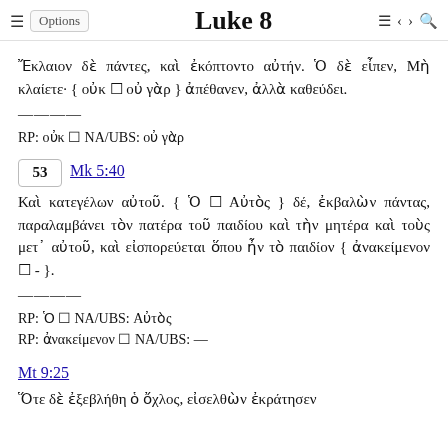Luke 8
Ἔκλαιον δὲ πάντες, καὶ ἐκόπτοντο αὐτήν. Ὁ δὲ εἶπεν, Μὴ κλαίετε· { οὐκ ☐ οὐ γὰρ } ἀπέθανεν, ἀλλὰ καθεύδει.
————
RP: οὐκ ☐ NA/UBS: οὐ γὰρ
53  Mk 5:40
Καὶ κατεγέλων αὐτοῦ. { Ὁ ☐ Αὐτὸς } δέ, ἐκβαλὼν πάντας, παραλαμβάνει τὸν πατέρα τοῦ παιδίου καὶ τὴν μητέρα καὶ τοὺς μετ᾽ αὐτοῦ, καὶ εἰσπορεύεται ὅπου ἦν τὸ παιδίον { ἀνακείμενον ☐ - }.
————
RP: Ὁ ☐ NA/UBS: Αὐτὸς
RP: ἀνακείμενον ☐ NA/UBS: —
Mt 9:25
Ὅτε δὲ ἐξεβλήθη ὁ ὄχλος, εἰσελθὼν ἐκράτησεν